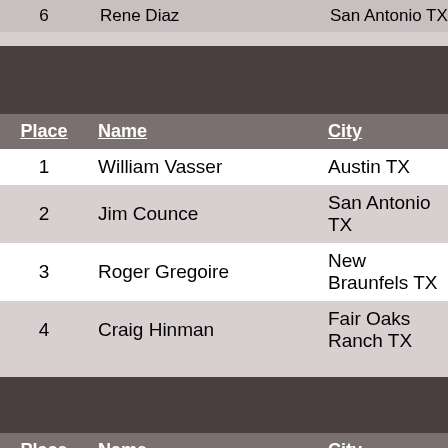| Place | Name | City |
| --- | --- | --- |
| 6 | Rene Diaz | San Antonio TX |
| 1 | William Vasser | Austin TX |
| 2 | Jim Counce | San Antonio TX |
| 3 | Roger Gregoire | New Braunfels TX |
| 4 | Craig Hinman | Fair Oaks Ranch TX |
| Place | Name | City |
| --- | --- | --- |
| 1 | David Dahl | Spring Branch TX |
| 2 | Curtis Wolfe | San Antonio TX |
| 3 | James Kane | San Antonio TX |
| 4 | Anthony Magaro | Elmendorf TX |